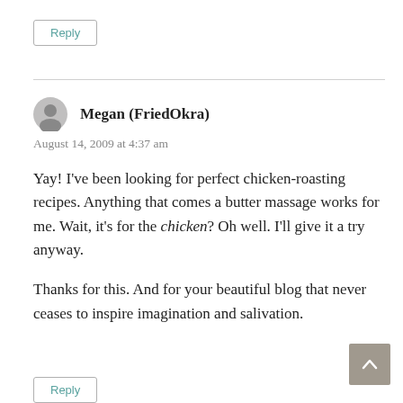Reply
Megan (FriedOkra)
August 14, 2009 at 4:37 am
Yay! I've been looking for perfect chicken-roasting recipes. Anything that comes a butter massage works for me. Wait, it's for the chicken? Oh well. I'll give it a try anyway.
Thanks for this. And for your beautiful blog that never ceases to inspire imagination and salivation.
Reply